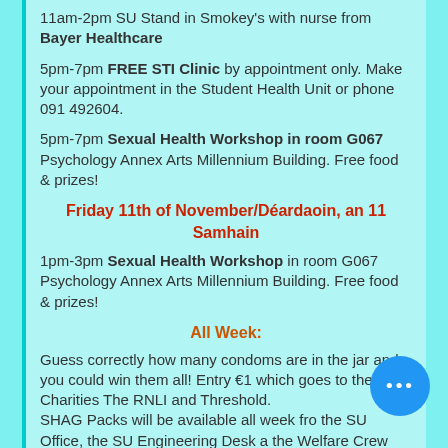11am-2pm SU Stand in Smokey's with nurse from Bayer Healthcare
5pm-7pm FREE STI Clinic by appointment only. Make your appointment in the Student Health Unit or phone 091 492604.
5pm-7pm Sexual Health Workshop in room G067 Psychology Annex Arts Millennium Building. Free food & prizes!
Friday 11th of November/Déardaoin, an 11 Samhain
1pm-3pm Sexual Health Workshop in room G067 Psychology Annex Arts Millennium Building. Free food & prizes!
All Week:
Guess correctly how many condoms are in the jar and you could win them all! Entry €1 which goes to the SU Charities The RNLI and Threshold.
SHAG Packs will be available all week from the SU Office, the SU Engineering Desk and the Welfare Crew around Campus.